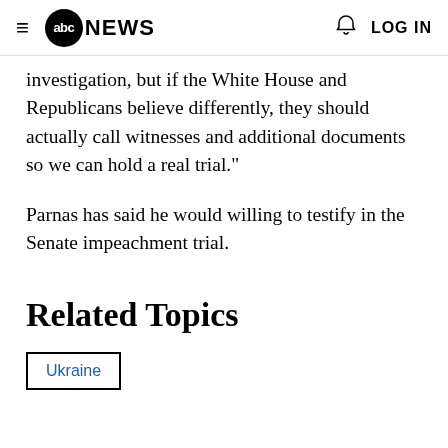≡ abcNEWS 🔔 LOG IN
investigation, but if the White House and Republicans believe differently, they should actually call witnesses and additional documents so we can hold a real trial."
Parnas has said he would willing to testify in the Senate impeachment trial.
Related Topics
Ukraine